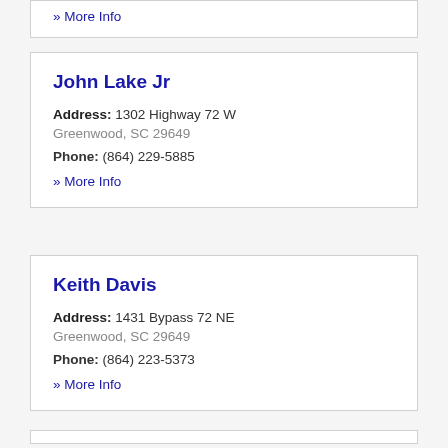» More Info
John Lake Jr
Address: 1302 Highway 72 W
Greenwood, SC 29649
Phone: (864) 229-5885
» More Info
Keith Davis
Address: 1431 Bypass 72 NE
Greenwood, SC 29649
Phone: (864) 223-5373
» More Info